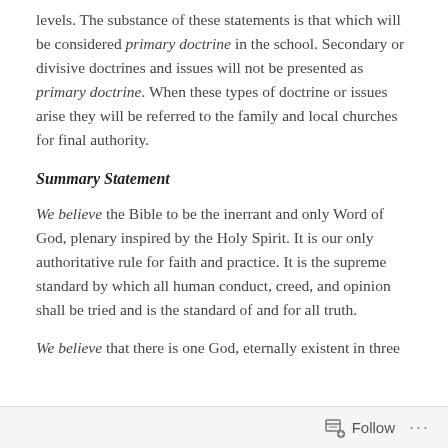levels. The substance of these statements is that which will be considered primary doctrine in the school. Secondary or divisive doctrines and issues will not be presented as primary doctrine. When these types of doctrine or issues arise they will be referred to the family and local churches for final authority.
Summary Statement
We believe the Bible to be the inerrant and only Word of God, plenary inspired by the Holy Spirit. It is our only authoritative rule for faith and practice. It is the supreme standard by which all human conduct, creed, and opinion shall be tried and is the standard of and for all truth.
We believe that there is one God, eternally existent in three
Follow ···